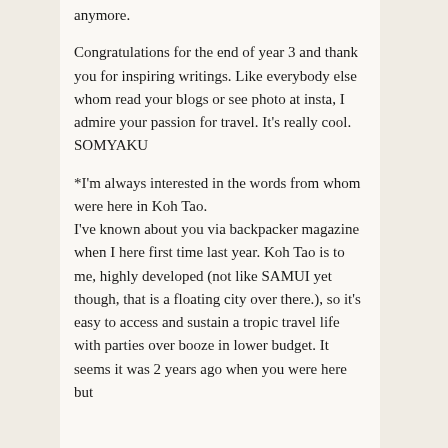anymore.
Congratulations for the end of year 3 and thank you for inspiring writings. Like everybody else whom read your blogs or see photo at insta, I admire your passion for travel. It's really cool. SOMYAKU
*I'm always interested in the words from whom were here in Koh Tao.
I've known about you via backpacker magazine when I here first time last year. Koh Tao is to me, highly developed (not like SAMUI yet though, that is a floating city over there.), so it's easy to access and sustain a tropic travel life with parties over booze in lower budget. It seems it was 2 years ago when you were here but